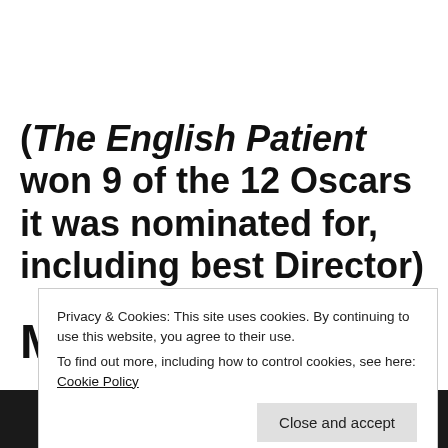(The English Patient won 9 of the 12 Oscars it was nominated for, including best Director)
Music
Privacy & Cookies: This site uses cookies. By continuing to use this website, you agree to their use. To find out more, including how to control cookies, see here: Cookie Policy
Close and accept